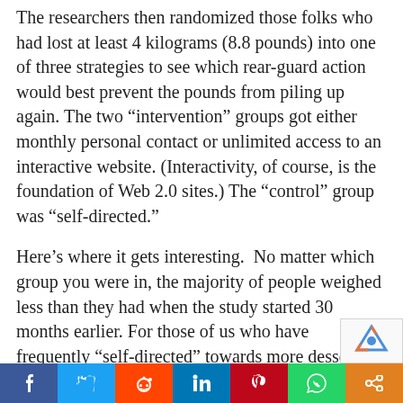The researchers then randomized those folks who had lost at least 4 kilograms (8.8 pounds) into one of three strategies to see which rear-guard action would best prevent the pounds from piling up again. The two “intervention” groups got either monthly personal contact or unlimited access to an interactive website. (Interactivity, of course, is the foundation of Web 2.0 sites.) The “control” group was “self-directed.”
Here’s where it gets interesting.  No matter which group you were in, the majority of people weighed less than they had when the study started 30 months earlier. For those of us who have frequently “self-directed” towards more dessert, that was good news in what was the longest and largest randomized
[Figure (other): Social share bar at the bottom with Facebook, Twitter, Reddit, LinkedIn, Pinterest, WhatsApp, and a share button icons]